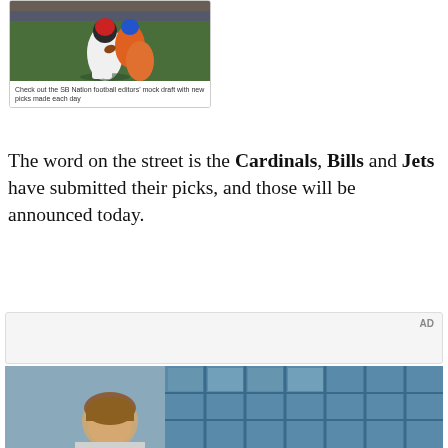[Figure (photo): Football action photo: player in white uniform carrying the ball, being tackled by players in orange/blue Florida uniforms on a green field]
Check out the SB Nation football editors' mock draft with new picks made each day
The word on the street is the Cardinals, Bills and Jets have submitted their picks, and those will be announced today.
[Figure (photo): AD placeholder with partial photo below showing a person near a building with blue-tinted glass windows]